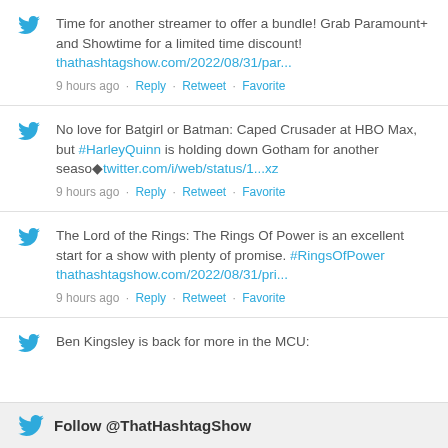Time for another streamer to offer a bundle! Grab Paramount+ and Showtime for a limited time discount! thathashtagshow.com/2022/08/31/par... 9 hours ago · Reply · Retweet · Favorite
No love for Batgirl or Batman: Caped Crusader at HBO Max, but #HarleyQuinn is holding down Gotham for another seaso◆twitter.com/i/web/status/1...xz 9 hours ago · Reply · Retweet · Favorite
The Lord of the Rings: The Rings Of Power is an excellent start for a show with plenty of promise. #RingsOfPower thathashtagshow.com/2022/08/31/pri... 9 hours ago · Reply · Retweet · Favorite
Ben Kingsley is back for more in the MCU:
Follow @ThatHashtagShow